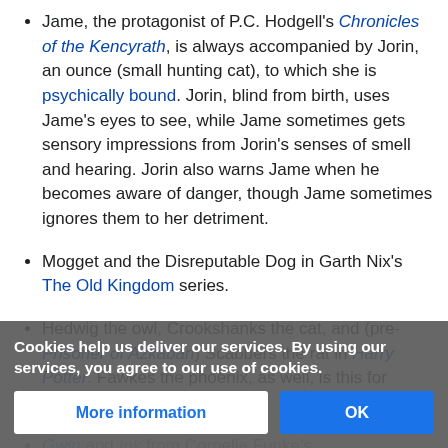Jame, the protagonist of P.C. Hodgell's Chronicles of the Kencyrath, is always accompanied by Jorin, an ounce (small hunting cat), to which she is psychically bound. Jorin, blind from birth, uses Jame's eyes to see, while Jame sometimes gets sensory impressions from Jorin's senses of smell and hearing. Jorin also warns Jame when he becomes aware of danger, though Jame sometimes ignores them to her detriment.
Mogget and the Disreputable Dog in Garth Nix's The Old Kingdom series.
Hedwig the owl, Crookshanks the cat, and (pre-Prisoner of Azkaban) Scabbers the rat in Harry Potter. Fawkes the phoenix, as well, is this for Dumbledore.
Gwin and Ink from Cornelia Funke's Inkheart/Inkspell/Inkdeath by Martins, in The Inkworld Trilogy.
Jordan and Ixti from Timothy Zahn's The Icarus Hunt.
Cookies help us deliver our services. By using our services, you agree to our use of cookies.